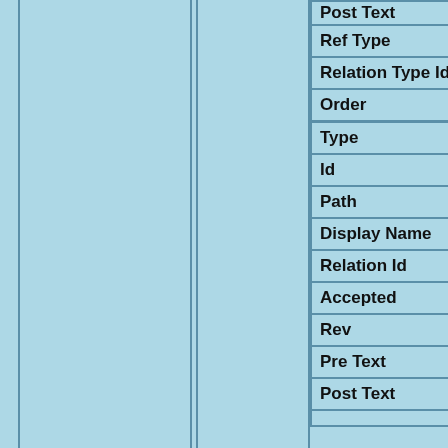| Field | Value |
| --- | --- |
| Post Text | none |
| Ref Type | ebnmlexicon_teks… |
| Relation Type Id | RELT0000000000… |
| Order | 0 |
| Type | ebnmlexicon |
| Id | LEXI000000005… |
| Path | domain/ebnmlexi… |
| Display Name | Mnl. vertalingen sum dignus |
| Relation Id | none |
| Accepted | yes |
| Rev | 0 |
| Pre Text | none |
| Post Text | none |